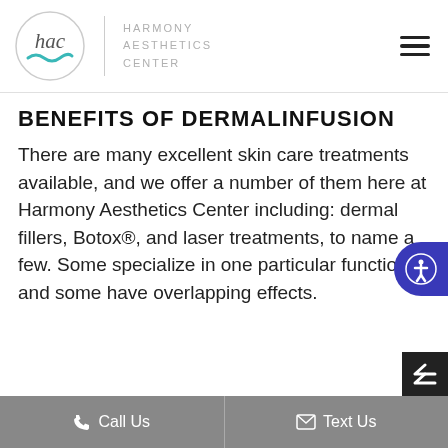[Figure (logo): Harmony Aesthetics Center logo: circular logo with cursive 'hac' lettering and teal wave, next to the text HARMONY AESTHETICS CENTER in light gray spaced capitals]
BENEFITS OF DERMALINFUSION
There are many excellent skin care treatments available, and we offer a number of them here at Harmony Aesthetics Center including: dermal fillers, Botox®, and laser treatments, to name a few. Some specialize in one particular function, and some have overlapping effects.
Call Us   Text Us